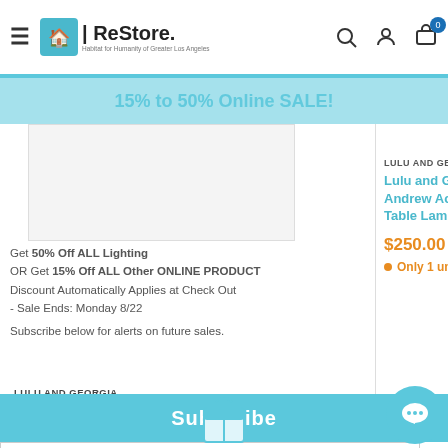ReStore - Habitat for Humanity of Greater Los Angeles
15% to 50% Online SALE!
[Figure (screenshot): Product image of Lulu and Georgia lamp (partially visible, light gray background)]
Get 50% Off ALL Lighting OR Get 15% Off ALL Other ONLINE PRODUCT
Discount Automatically Applies at Check Out
- Sale Ends: Monday 8/22
Subscribe below for alerts on future sales.
LULU AND GEORGIA
Lulu and Georgia Regina Andrew Accordion Round Table Lamp
$250.00  $563.00
Only 1 unit left
LULU AND GEORGIA
Lulu and Georgia Andrew Accordion Table Lamp
$250.00  $563.00
Only 1 unit left
Your email
Subscribe